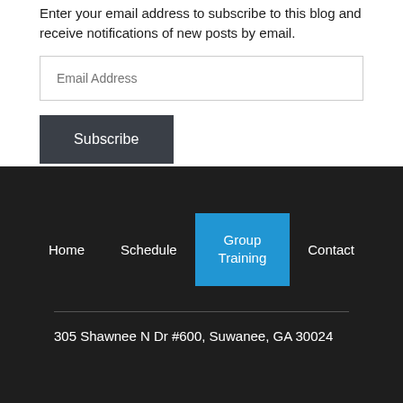Enter your email address to subscribe to this blog and receive notifications of new posts by email.
Email Address
Subscribe
Home
Schedule
Group Training
Contact
305 Shawnee N Dr #600, Suwanee, GA 30024